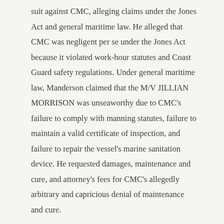suit against CMC, alleging claims under the Jones Act and general maritime law. He alleged that CMC was negligent per se under the Jones Act because it violated work-hour statutes and Coast Guard safety regulations. Under general maritime law, Manderson claimed that the M/V JILLIAN MORRISON was unseaworthy due to CMC's failure to comply with manning statutes, failure to maintain a valid certificate of inspection, and failure to repair the vessel's marine sanitation device. He requested damages, maintenance and cure, and attorney's fees for CMC's allegedly arbitrary and capricious denial of maintenance and cure.
After a bench trial, the district court found for CMC on Manderson's Jones Act and general maritime law claims. However, the court awarded Manderson $14,680 for